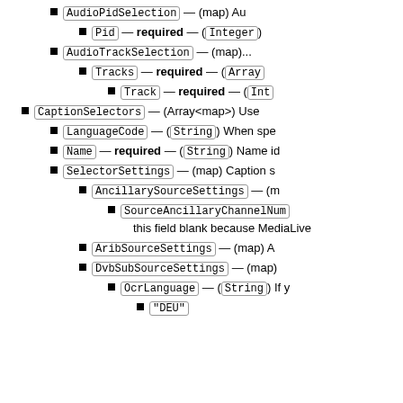AudioPidSelection — (map) Au...
Pid — required — (Integer)
AudioTrackSelection — (map)...
Tracks — required — (Array...
Track — required — (Int...
CaptionSelectors — (Array<map>) Use...
LanguageCode — (String) When spe...
Name — required — (String) Name id...
SelectorSettings — (map) Caption s...
AncillarySourceSettings — (m...
SourceAncillaryChannelNum... this field blank because MediaLive...
AribSourceSettings — (map) A...
DvbSubSourceSettings — (map)...
OcrLanguage — (String) If y...
"DEU"